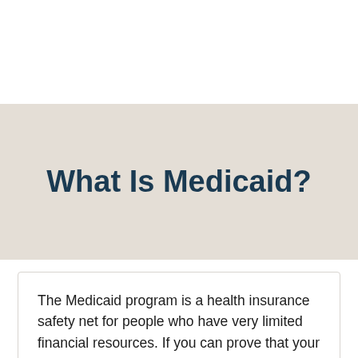What Is Medicaid?
The Medicaid program is a health insurance safety net for people who have very limited financial resources. If you can prove that your resources are within Medicaid income and